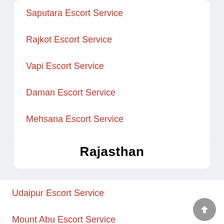Saputara Escort Service
Rajkot Escort Service
Vapi Escort Service
Daman Escort Service
Mehsana Escort Service
Rajasthan
Udaipur Escort Service
Mount Abu Escort Service
Bhilwara Escort Service
Rajsamand Escort Service